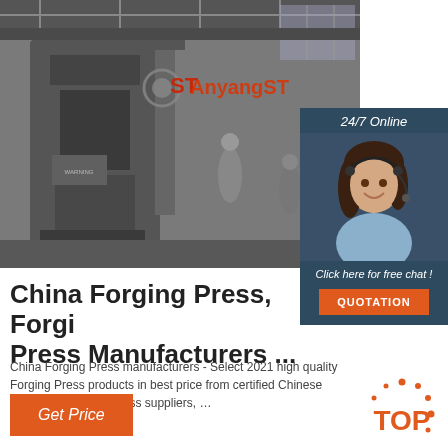[Figure (photo): Black and white photo of a large industrial forging press machine in a factory with workers visible in the background. AnyangST logo overlay visible.]
[Figure (photo): 24/7 Online customer service agent photo — woman with headset smiling, with dark background panel showing 'Click here for free chat!' and orange QUOTATION button.]
China Forging Press, Forging Press Manufacturers ...
China Forging Press manufacturers - Select 2021 high quality Forging Press products in best price from certified Chinese Forging, Hydraulic Press suppliers, …
[Figure (logo): Red and orange TOP badge with dot decorations]
Get Price